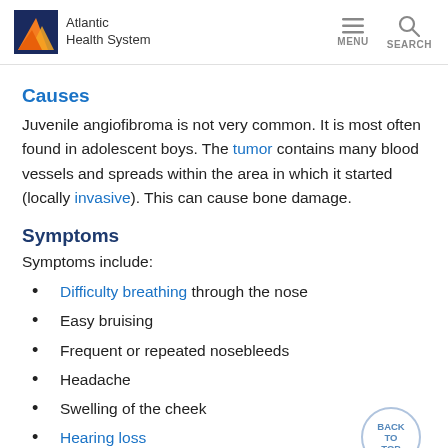Atlantic Health System | MENU | SEARCH
Causes
Juvenile angiofibroma is not very common. It is most often found in adolescent boys. The tumor contains many blood vessels and spreads within the area in which it started (locally invasive). This can cause bone damage.
Symptoms
Symptoms include:
Difficulty breathing through the nose
Easy bruising
Frequent or repeated nosebleeds
Headache
Swelling of the cheek
Hearing loss
Nasal discharge, usually bloody